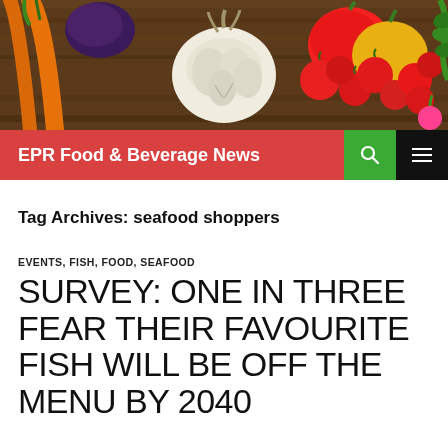[Figure (photo): Header photo of colourful vegetables including garlic, tomatoes, peppers, carrots on a wooden surface]
EPR Food & Beverage News
Tag Archives: seafood shoppers
EVENTS, FISH, FOOD, SEAFOOD
SURVEY: ONE IN THREE FEAR THEIR FAVOURITE FISH WILL BE OFF THE MENU BY 2040